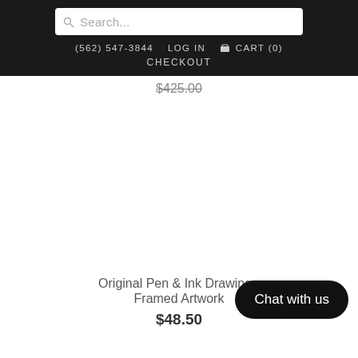Search... (562) 547-3844  LOG IN  CART (0)  CHECKOUT
$425.00
Original Pen & Ink Drawing - Framed Artwork
$48.50
Chat with us